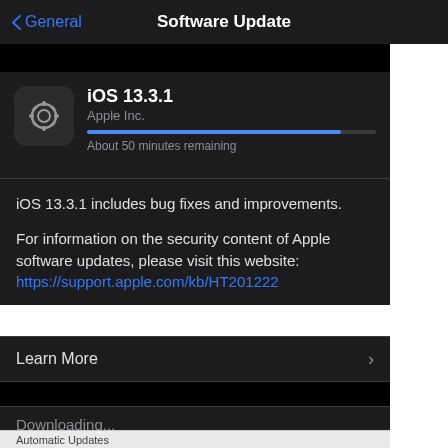General   Software Update
[Figure (screenshot): iOS Settings app Software Update screen showing iOS 13.3.1 update downloading, with progress bar showing about 50 minutes remaining, description text, Learn More row, and Downloading status]
iOS 13.3.1
Apple Inc.
About 50 minutes remaining
iOS 13.3.1 includes bug fixes and improvements.
For information on the security content of Apple software updates, please visit this website:
https://support.apple.com/kb/HT201222
Learn More
Downloading...
Automatic Updates   Off